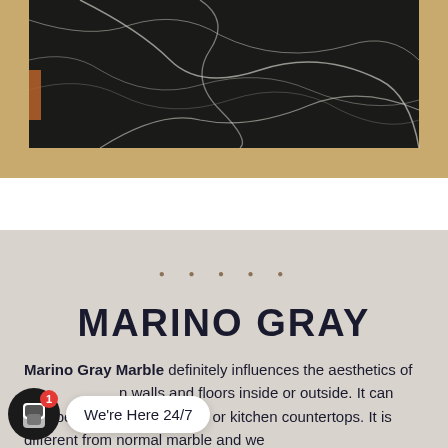[Figure (photo): Close-up photo of dark black marble with white veining, shown on a tan/gold background]
• • • • •
MARINO GRAY
Marino Gray Marble definitely influences the aesthetics of c... walls and floors inside or outside. It can also be applied in bathroom or kitchen countertops. It is different from normal marble and we
[Figure (other): Chat widget overlay showing a dark circular icon with chat symbol and red badge showing '1', alongside a white speech bubble saying 'We're Here 24/7']